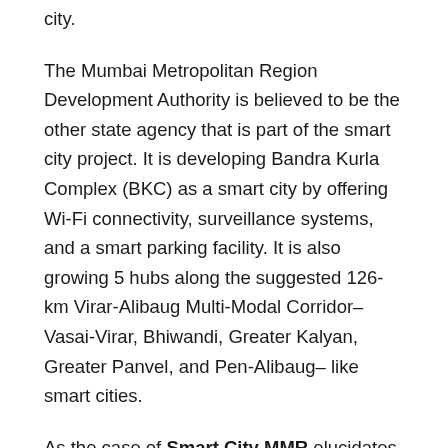city.
The Mumbai Metropolitan Region Development Authority is believed to be the other state agency that is part of the smart city project. It is developing Bandra Kurla Complex (BKC) as a smart city by offering Wi-Fi connectivity, surveillance systems, and a smart parking facility. It is also growing 5 hubs along the suggested 126-km Virar-Alibaug Multi-Modal Corridor– Vasai-Virar, Bhiwandi, Greater Kalyan, Greater Panvel, and Pen-Alibaug– like smart cities.
As the case of Smart City MMR elucidates, numerous avatars of smart cities are being constructed in several locations. The narrative on smart cities in India is therefore not limited to cities under the government's Smart City Mission. Instead, the term is